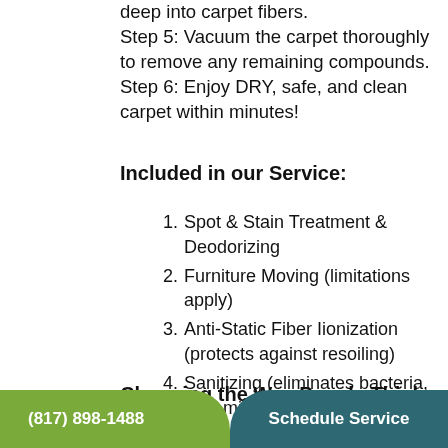deep into carpet fibers. Step 5: Vacuum the carpet thoroughly to remove any remaining compounds. Step 6: Enjoy DRY, safe, and clean carpet within minutes!
Included in our Service:
1. Spot & Stain Treatment & Deodorizing
2. Furniture Moving (limitations apply)
3. Anti-Static Fiber Iionization (protects against resoiling)
4. Sanitizing (eliminates bacteria, dust mites, & microbes)
Changing the Way People Think About Carpet Cleaning
(817) 898-1488   Schedule Service